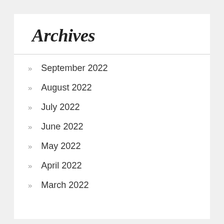Archives
September 2022
August 2022
July 2022
June 2022
May 2022
April 2022
March 2022